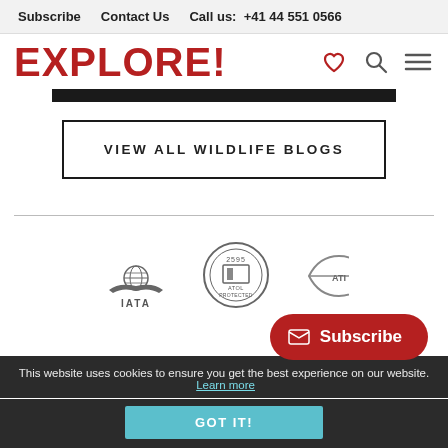Subscribe   Contact Us   Call us: +41 44 551 0566
EXPLORE!
[Figure (screenshot): Partial dark image bar visible at top]
VIEW ALL WILDLIFE BLOGS
[Figure (logo): IATA logo with globe and wings]
[Figure (logo): ATOL Protected stamp logo, number 2595]
[Figure (logo): Partial logo partially obscured]
This website uses cookies to ensure you get the best experience on our website.  Learn more
GOT IT!
Subscribe